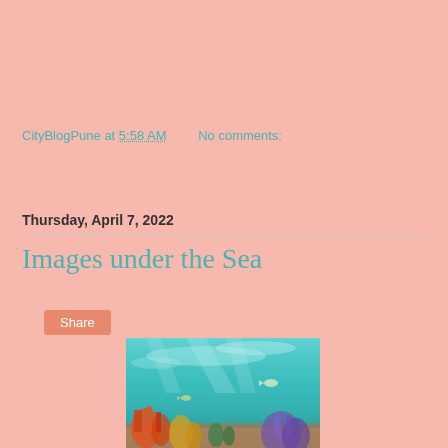CityBlogPune at 5:58 AM   No comments:
Share
Thursday, April 7, 2022
Images under the Sea
[Figure (photo): Underwater photo showing coral reef with turquoise water and sunlight filtering through the surface]